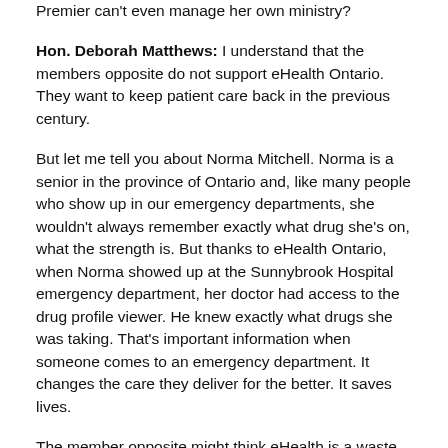Premier can't even manage her own ministry?
Hon. Deborah Matthews: I understand that the members opposite do not support eHealth Ontario. They want to keep patient care back in the previous century.
But let me tell you about Norma Mitchell. Norma is a senior in the province of Ontario and, like many people who show up in our emergency departments, she wouldn't always remember exactly what drug she's on, what the strength is. But thanks to eHealth Ontario, when Norma showed up at the Sunnybrook Hospital emergency department, her doctor had access to the drug profile viewer. He knew exactly what drugs she was taking. That's important information when someone comes to an emergency department. It changes the care they deliver for the better. It saves lives.
The member opposite might think eHealth is a waste. eHealth is saving lives, and the sooner he understands that, the better we'll all be.